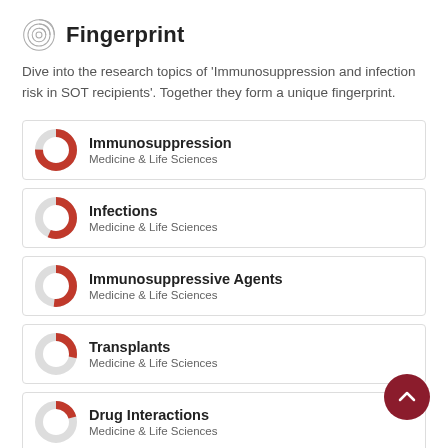Fingerprint
Dive into the research topics of 'Immunosuppression and infection risk in SOT recipients'. Together they form a unique fingerprint.
Immunosuppression — Medicine & Life Sciences
Infections — Medicine & Life Sciences
Immunosuppressive Agents — Medicine & Life Sciences
Transplants — Medicine & Life Sciences
Drug Interactions — Medicine & Life Sciences